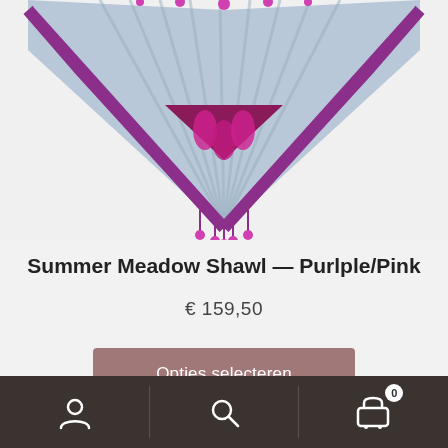[Figure (photo): Top portion of a purple/pink Summer Meadow Shawl displayed against a light gray background, showing decorative fringe and bead trim at the bottom point.]
Summer Meadow Shawl — Purlple/Pink
€ 159,50
Opties selecteren
[Figure (photo): A bright pink/magenta shawl with floral print (white and pink flowers with gold accents) laid flat, showing the folded rectangular shape with decorative border trim.]
[Figure (screenshot): Bottom navigation bar with dark brown background containing three icon buttons: user/account icon, search icon, and shopping cart icon with badge showing 0.]